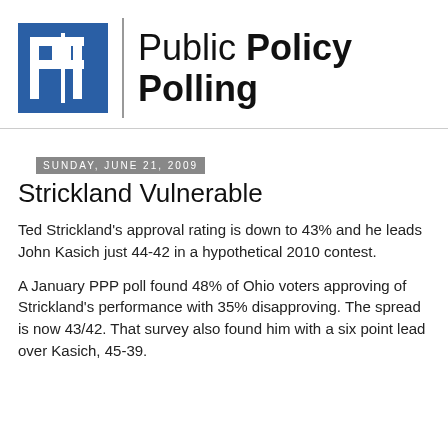[Figure (logo): Public Policy Polling logo with blue square icon containing stylized 'pp' letters and bold organization name text]
Sunday, June 21, 2009
Strickland Vulnerable
Ted Strickland's approval rating is down to 43% and he leads John Kasich just 44-42 in a hypothetical 2010 contest.
A January PPP poll found 48% of Ohio voters approving of Strickland's performance with 35% disapproving. The spread is now 43/42. That survey also found him with a six point lead over Kasich, 45-39.